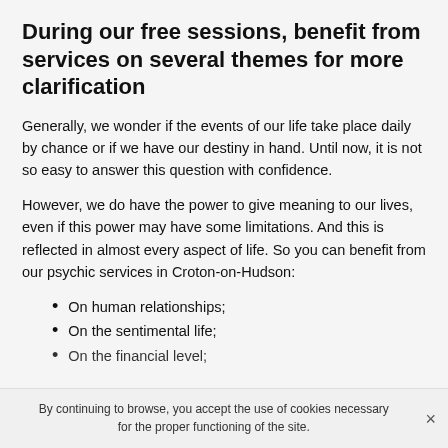During our free sessions, benefit from services on several themes for more clarification
Generally, we wonder if the events of our life take place daily by chance or if we have our destiny in hand. Until now, it is not so easy to answer this question with confidence.
However, we do have the power to give meaning to our lives, even if this power may have some limitations. And this is reflected in almost every aspect of life. So you can benefit from our psychic services in Croton-on-Hudson:
On human relationships;
On the sentimental life;
On the financial level;
By continuing to browse, you accept the use of cookies necessary for the proper functioning of the site. ×